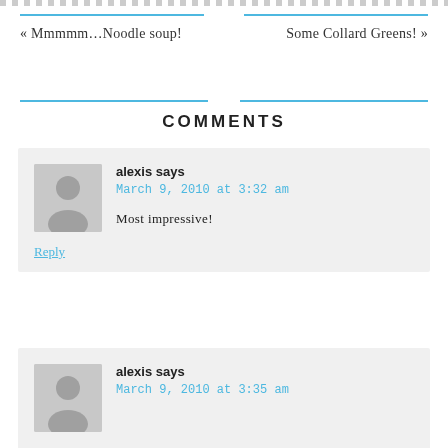« Mmmmm…Noodle soup!
Some Collard Greens! »
COMMENTS
alexis says
March 9, 2010 at 3:32 am
Most impressive!
Reply
alexis says
March 9, 2010 at 3:35 am